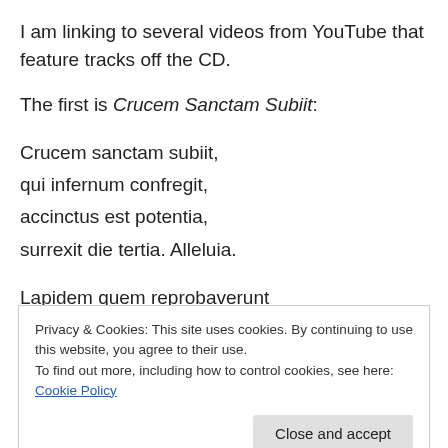I am linking to several videos from YouTube that feature tracks off the CD.
The first is Crucem Sanctam Subiit:
Crucem sanctam subiit,
qui infernum confregit,
accinctus est potentia,
surrexit die tertia. Alleluia.
Lapidem quem reprobaverunt
aedificantes factus est
Privacy & Cookies: This site uses cookies. By continuing to use this website, you agree to their use.
To find out more, including how to control cookies, see here: Cookie Policy
Close and accept